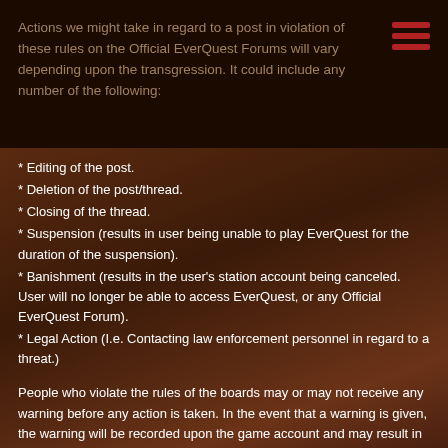Actions we might take in regard to a post in violation of these rules on the Official EverQuest Forums will vary depending upon the transgression. It could include any number of the following:
* Editing of the post.
* Deletion of the post/thread.
* Closing of the thread.
* Suspension (results in user being unable to play EverQuest for the duration of the suspension).
* Banishment (results in the user's station account being canceled. User will no longer be able to access EverQuest, or any Official EverQuest Forum).
* Legal Action (I.e. Contacting law enforcement personnel in regard to a threat.)
People who violate the rules of the boards may or may not receive any warning before any action is taken. In the event that a warning is given, the warning will be recorded upon the game account and may result in further action should the player show a pattern of engaging in prohibited conduct. Philosophically and